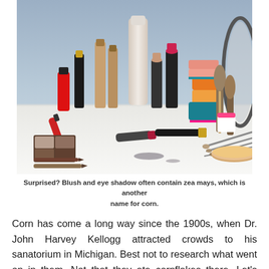[Figure (photo): A collection of makeup and cosmetic products including lipsticks, nail polish, foundation bottles, blush compacts, makeup brushes, eyeshadow palettes, and a mirror arranged on a white surface against a light blue background.]
Surprised? Blush and eye shadow often contain zea mays, which is another name for corn.
Corn has come a long way since the 1900s, when Dr. John Harvey Kellogg attracted crowds to his sanatorium in Michigan. Best not to research what went on in them. Not that they ate cornflakes there. Let's take a look at